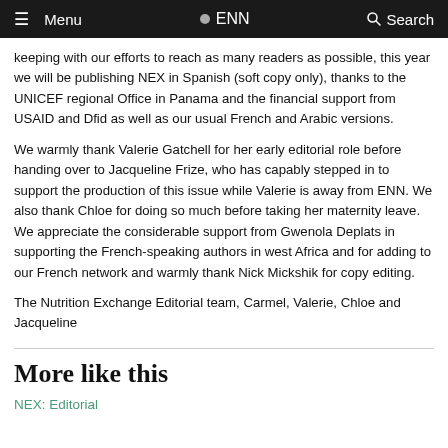Menu  ENN  Search
keeping with our efforts to reach as many readers as possible, this year we will be publishing NEX in Spanish (soft copy only), thanks to the UNICEF regional Office in Panama and the financial support from USAID and Dfid as well as our usual French and Arabic versions.
We warmly thank Valerie Gatchell for her early editorial role before handing over to Jacqueline Frize, who has capably stepped in to support the production of this issue while Valerie is away from ENN. We also thank Chloe for doing so much before taking her maternity leave. We appreciate the considerable support from Gwenola Deplats in supporting the French-speaking authors in west Africa and for adding to our French network and warmly thank Nick Mickshik for copy editing.
The Nutrition Exchange Editorial team, Carmel, Valerie, Chloe and Jacqueline
More like this
NEX: Editorial